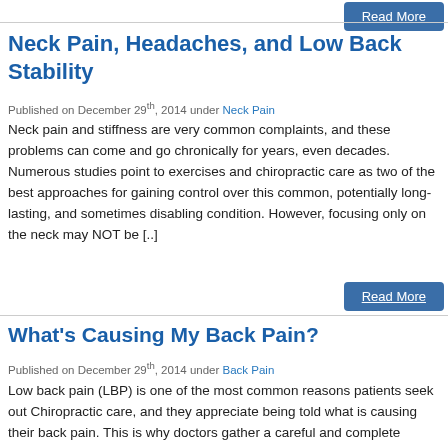Read More
Neck Pain, Headaches, and Low Back Stability
Published on December 29th, 2014 under Neck Pain
Neck pain and stiffness are very common complaints, and these problems can come and go chronically for years, even decades. Numerous studies point to exercises and chiropractic care as two of the best approaches for gaining control over this common, potentially long-lasting, and sometimes disabling condition. However, focusing only on the neck may NOT be [..]
Read More
What's Causing My Back Pain?
Published on December 29th, 2014 under Back Pain
Low back pain (LBP) is one of the most common reasons patients seek out Chiropractic care, and they appreciate being told what is causing their back pain. This is why doctors gather a careful and complete history from new patients and perform a physical